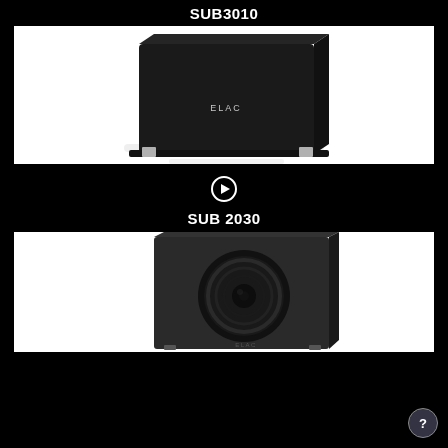SUB3010
[Figure (photo): Photo of ELAC SUB3010 subwoofer — black cube-shaped speaker with metallic feet on a reflective surface, ELAC logo visible on front.]
[Figure (other): Play button icon (circle with triangle)]
SUB 2030
[Figure (photo): Photo of ELAC SUB 2030 subwoofer — dark grey/black rectangular cabinet with large circular woofer cone visible on the front face.]